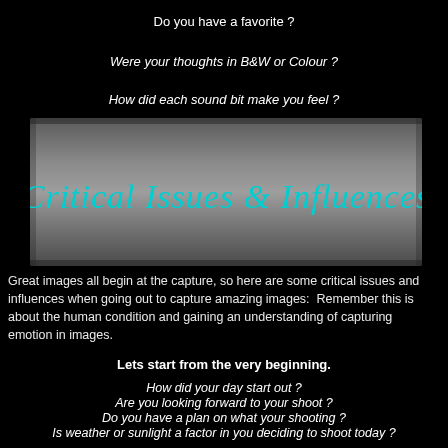Do you have a favorite ?
Were your thoughts in B&W or Colour ?
How did each sound bit make you feel ?
[Figure (illustration): Dark metallic brushed steel banner with teal italic cursive text reading 'Critical Issues & Influences']
Great images all begin at the capture, so here are some critical issues and influences when going out to capture amazing images:  Remember this is about the human condition and gaining an understanding of capturing emotion in images.
Lets start from the very beginning.
How did your day start out ?
Are you looking forward to your shoot ?
Do you have a plan on what your shooting ?
Is weather or sunlight a factor in you deciding to shoot today ?